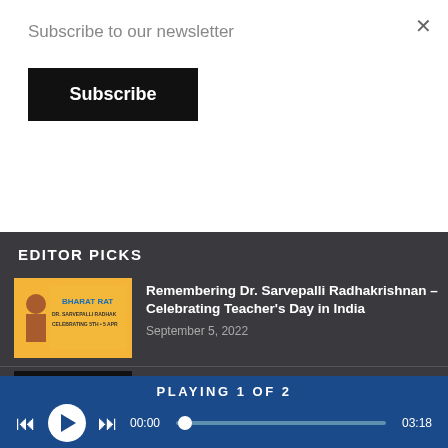Subscribe to our newsletter
Subscribe
EDITOR PICKS
[Figure (illustration): Thumbnail for Bharat Ratna / Dr. Sarvepalli Radhakrishnan article – orange/gold background with blue text]
Remembering Dr. Sarvepalli Radhakrishnan – Celebrating Teacher's Day in India
September 5, 2022
[Figure (illustration): Thumbnail for Top 10 Most Famous Martial Arts in India – dark background with yellow/white text and a figure silhouette]
Top 10 Most Famous Martial Arts in India
September 2, 2022
[Figure (illustration): Thumbnail for Artificial Intelligence article – light grey/dotted background]
Artificial Intelligence – A Brief Tutorial
PLAYING 1 OF 2
00:00
03:18